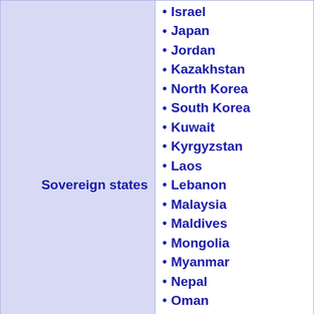Sovereign states
Israel
Japan
Jordan
Kazakhstan
North Korea
South Korea
Kuwait
Kyrgyzstan
Laos
Lebanon
Malaysia
Maldives
Mongolia
Myanmar
Nepal
Oman
Pakistan
Philippines
Qatar